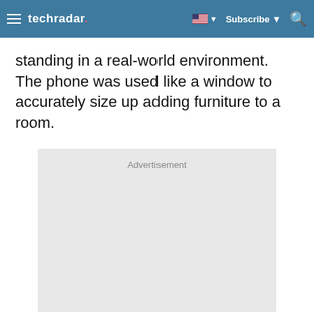techradar
standing in a real-world environment. The phone was used like a window to accurately size up adding furniture to a room.
[Figure (other): Advertisement placeholder box with light gray background and 'Advertisement' label at top center]